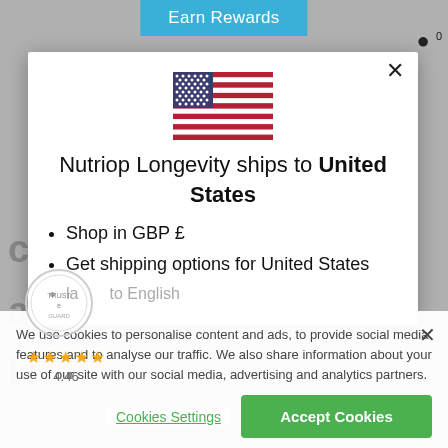Earn Rewards
[Figure (illustration): US flag emoji / illustration]
Nutriop Longevity ships to United States
Shop in GBP £
Get shipping options for United States
We use cookies to personalise content and ads, to provide social media features and to analyse our traffic. We also share information about your use of our site with our social media, advertising and analytics partners.
Cookies Settings
Accept Cookies